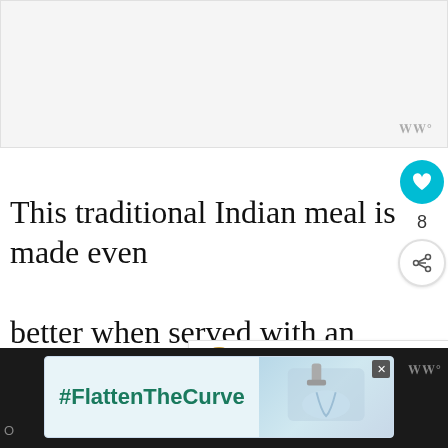[Figure (photo): Top image area placeholder (recipe photo cropped), light gray background]
This traditional Indian meal is made even better when served with an accompaniment that further helps to bring
[Figure (infographic): Sidebar UI: heart/like button (teal circle with heart icon), like count '8', share button]
[Figure (infographic): What's Next card with thumbnail and text: 'What to Serve with Curried...']
[Figure (screenshot): Bottom dark bar with advertisement banner: #FlattenTheCurve ad with faucet/handwashing image and close button]